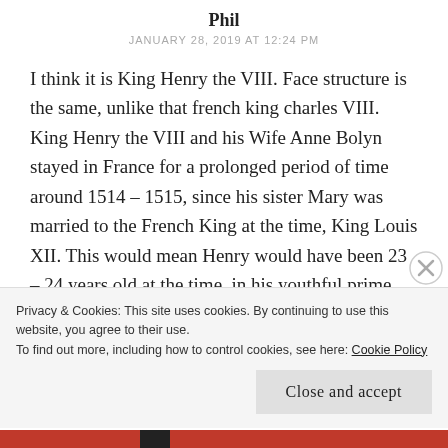Phil
JANUARY 28, 2019 AT 12:24 PM
I think it is King Henry the VIII. Face structure is the same, unlike that french king charles VIII. King Henry the VIII and his Wife Anne Bolyn stayed in France for a prolonged period of time around 1514 – 1515, since his sister Mary was married to the French King at the time, King Louis XII. This would mean Henry would have been 23 – 24 years old at the time, in his youthful prime (Note in the 1509 painting, he would have been 17-18 yrs old). The coat of arms
Privacy & Cookies: This site uses cookies. By continuing to use this website, you agree to their use.
To find out more, including how to control cookies, see here: Cookie Policy
Close and accept